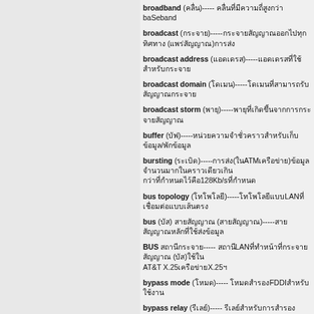broadband (คลื่น)----- คลื่นที่มีความถี่สูงกว่า baSeband
broadcast (กระจาย)----- กระจายสัญญาณออกไปทุกทิศทาง (แพร่สัญญาณ)การส่ง
broadcast address (แอดเดรส)----- แอดเดรสที่ใช้สำหรับกระจาย
broadcast domain (โดเมน)----- โดเมนที่สามารถรับสัญญาณกระจาย
broadcast storm (พายุ)----- พายุที่เกิดขึ้นจากการกระจายสัญญาณ
buffer (บัฟเฟอร์)----- หน่วยความจำชั่วคราวสำหรับเก็บข้อมูล/พักข้อมูล
bursting (การระเบิด)----- การส่ง(ในATMเครือข่าย)ข้อมูลจำนวนมากในคราวเดียวเกิน 128Kb/sที่กำหนด
bus topology (โทโพโลยี)----- โทโพโลยีแบบLANที่เชื่อมต่อแบบเส้นตรง
bus (บัส) สายสัญญาณ (สายสัญญาณ)----- สายสัญญาณหลักที่ใช้ส่งข้อมูล
BUS สถานีกระจาย----- สถานีLANที่ทำหน้าที่กระจายสัญญาณ (บัส)ใช้ใน AT&T X.25เครือข่ายX.25
bypass mode (โหมด)----- โหมดสำรองFDDIสำหรับใช้งาน
bypass relay (รีเลย์)----- รีเลย์สำหรับการสำรองสัญญาณ
byte-oriented protocol (โปรโตคอล)----- โปรโตคอลที่
cable range (ช่วง) ช่วงAppleTalkที่กำหนดช่วงเลข
cable range (ช่วง)----- ช่วงAppleTalkที่กำหนดช่วงเลข
CAS การบริหาร (Communication Administration System)